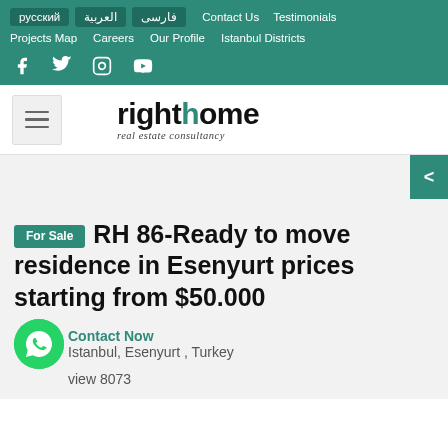русский  العربية  فارسی  Contact Us  Testimonials  Projects Map  Careers  Our Profile  Istanbul Districts
[Figure (logo): Righthome real estate consultancy logo with teal colored letter h]
RH 86-Ready to move residence in Esenyurt prices starting from $50.000
Istanbul, Esenyurt , Turkey
view 8073